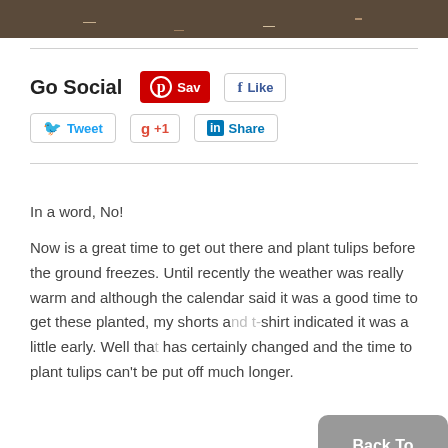[Figure (photo): Partial view of soil/ground with small bulbs or seeds visible, dark earthy tones]
[Figure (infographic): Go Social section with social media buttons: Pinterest Save, Facebook Like, Twitter Tweet, Google +1, LinkedIn Share]
In a word, No!
Now is a great time to get out there and plant tulips before the ground freezes. Until recently the weather was really warm and although the calendar said it was a good time to get these planted, my shorts and t-shirt indicated it was a little early. Well that has certainly changed and the time to plant tulips can't be put off much longer.